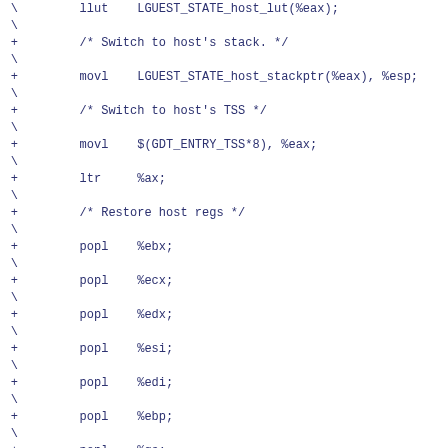diff code snippet showing host stack switch and register restore in assembly
\  (continuation marker)
+         /* Switch to host's stack. */
\
+         movl    LGUEST_STATE_host_stackptr(%eax), %esp;
\
+         /* Switch to host's TSS */
\
+         movl    $(GDT_ENTRY_TSS*8), %eax;
\
+         ltr     %ax;
\
+         /* Restore host regs */
\
+         popl    %ebx;
\
+         popl    %ecx;
\
+         popl    %edx;
\
+         popl    %esi;
\
+         popl    %edi;
\
+         popl    %ebp;
\
+         popl    %gs;
\
+         popl    %eax;
\
+         popl    %fs;